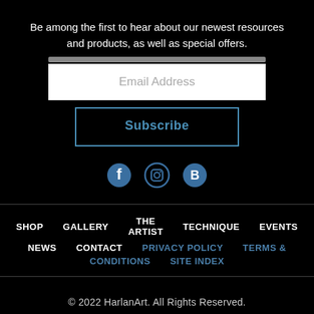Be among the first to hear about our newest resources and products, as well as special offers.
[Figure (screenshot): Email Address input field (white rectangle) with placeholder text 'Email Address']
[Figure (other): Subscribe button with blue border and blue text]
[Figure (other): Social media icons: Facebook, Instagram, Blogger in blue]
SHOP  GALLERY  THE ARTIST  TECHNIQUE  EVENTS  NEWS  CONTACT  PRIVACY POLICY  TERMS & CONDITIONS  SITE INDEX
© 2022 HarlanArt. All Rights Reserved.